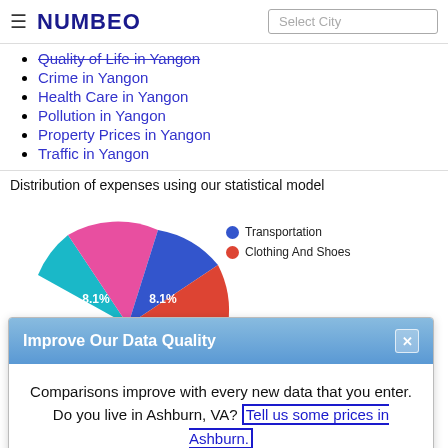NUMBEO | Select City
Quality of Life in Yangon
Crime in Yangon
Health Care in Yangon
Pollution in Yangon
Property Prices in Yangon
Traffic in Yangon
Distribution of expenses using our statistical model
[Figure (pie-chart): Pie chart partially visible, showing at least Transportation (blue, 8.1%), Clothing And Shoes (red, 8.1%), and other segments in pink, teal, purple, green colors]
Improve Our Data Quality
Comparisons improve with every new data that you enter. Do you live in Ashburn, VA? Tell us some prices in Ashburn.